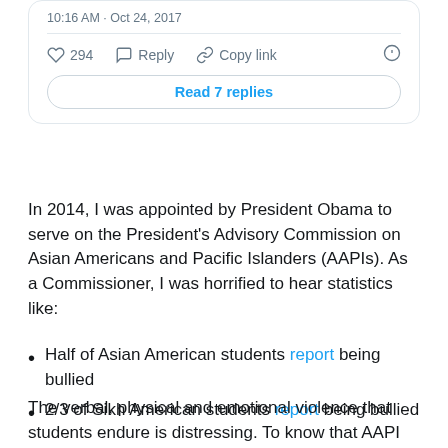[Figure (screenshot): Twitter/social media post card showing timestamp '10:16 AM · Oct 24, 2017', action buttons (heart/like 294, Reply, Copy link), and a 'Read 7 replies' button]
In 2014, I was appointed by President Obama to serve on the President's Advisory Commission on Asian Americans and Pacific Islanders (AAPIs). As a Commissioner, I was horrified to hear statistics like:
Half of Asian American students report being bullied
2/3 of Sikh American students report being bullied
Half of Muslim American students report being bullied because of their religion
The verbal, physical and emotional violence that students endure is distressing. To know that AAPI